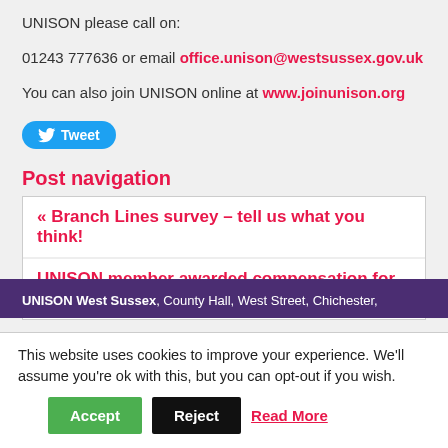UNISON please call on:
01243 777636 or email office.unison@westsussex.gov.uk
You can also join UNISON online at www.joinunison.org
[Figure (other): Twitter Tweet button - blue rounded pill button with bird icon and text 'Tweet']
Post navigation
« Branch Lines survey – tell us what you think!
UNISON member awarded compensation for injury at work »
UNISON West Sussex, County Hall, West Street, Chichester,
This website uses cookies to improve your experience. We'll assume you're ok with this, but you can opt-out if you wish.